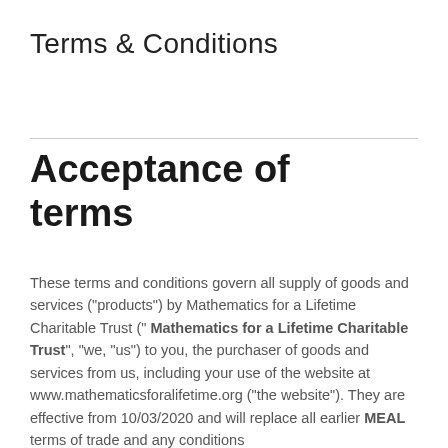Terms & Conditions
Acceptance of terms
These terms and conditions govern all supply of goods and services ("products") by Mathematics for a Lifetime Charitable Trust (" Mathematics for a Lifetime Charitable Trust", "we, "us") to you, the purchaser of goods and services from us, including your use of the website at www.mathematicsforalifetime.org ("the website"). They are effective from 10/03/2020 and will replace all earlier MEAL terms of trade and any conditions